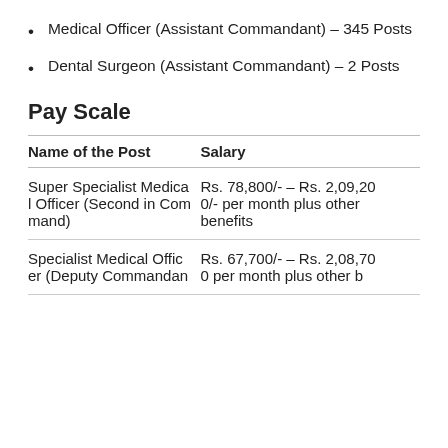Medical Officer (Assistant Commandant) – 345 Posts
Dental Surgeon (Assistant Commandant) – 2 Posts
Pay Scale
| Name of the Post | Salary |
| --- | --- |
| Super Specialist Medical Officer (Second in Command) | Rs. 78,800/- – Rs. 2,09,200/- per month plus other benefits |
| Specialist Medical Officer (Deputy Commandant | Rs. 67,700/- – Rs. 2,08,700 per month plus other b |